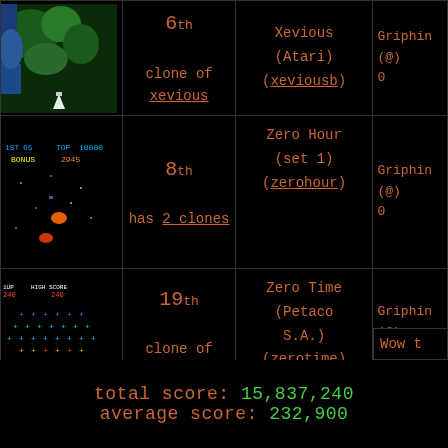| Screenshot | Rank | Game | Player |
| --- | --- | --- | --- |
| [xevious screenshot] | 6th
clone of xevious | Xevious (Atari)
(xeviousb) | Griphin
(@)
0 |
| [zerohour screenshot] | 8th
has 2 clones | Zero Hour (set 1)
(zerohour) | Griphin
(@)
0 |
| [galaxian screenshot] | 19th
clone of galaxian | Zero Time (Petaco S.A.)
(zerotime) | Griphin
(@)
1
Wow t |
total score: 15,837,240
average score: 232,900